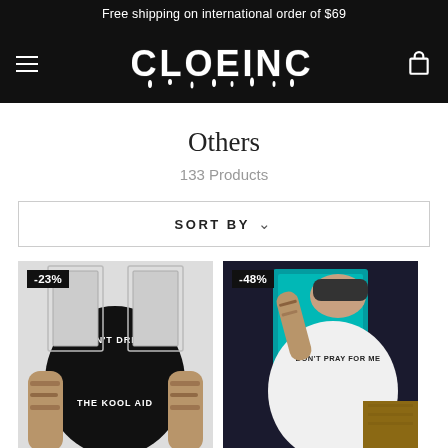Free shipping on international order of $69
[Figure (logo): CLOEINC logo in dripping horror font on black nav bar with hamburger menu and cart icon]
Others
133 Products
SORT BY
[Figure (photo): Person wearing black t-shirt with 'DON'T DRINK THE KOOL AID' graphic, showing tattooed arms, badge showing -23% discount]
[Figure (photo): Person wearing white t-shirt with 'DON'T PRAY FOR ME' graphic holding screen printing frame, badge showing -48% discount]